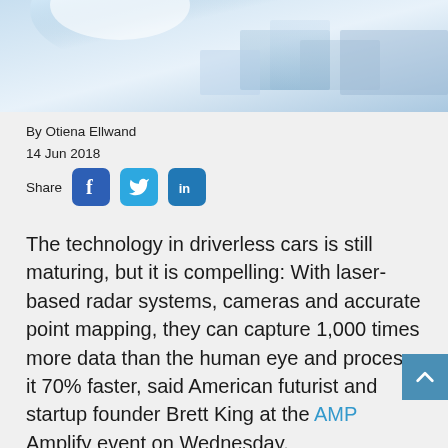[Figure (photo): Abstract blue-toned header image with light flare, possibly depicting technology or automotive context]
By Otiena Ellwand
14 Jun 2018
Share [Facebook] [Twitter] [LinkedIn]
The technology in driverless cars is still maturing, but it is compelling: With laser-based radar systems, cameras and accurate point mapping, they can capture 1,000 times more data than the human eye and process it 70% faster, said American futurist and startup founder Brett King at the AMP Amplify event on Wednesday.